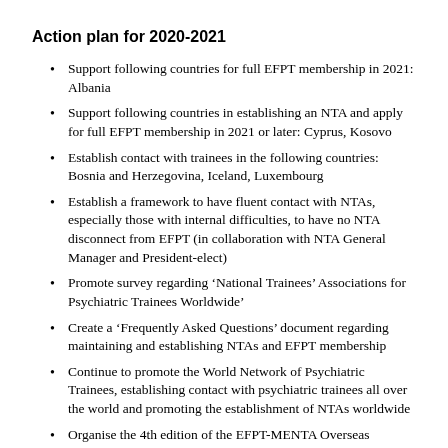Action plan for 2020-2021
Support following countries for full EFPT membership in 2021: Albania
Support following countries in establishing an NTA and apply for full EFPT membership in 2021 or later: Cyprus, Kosovo
Establish contact with trainees in the following countries: Bosnia and Herzegovina, Iceland, Luxembourg
Establish a framework to have fluent contact with NTAs, especially those with internal difficulties, to have no NTA disconnect from EFPT (in collaboration with NTA General Manager and President-elect)
Promote survey regarding ‘National Trainees’ Associations for Psychiatric Trainees Worldwide’
Create a ‘Frequently Asked Questions’ document regarding maintaining and establishing NTAs and EFPT membership
Continue to promote the World Network of Psychiatric Trainees, establishing contact with psychiatric trainees all over the world and promoting the establishment of NTAs worldwide
Organise the 4th edition of the EFPT-MENTA Overseas programme, inviting non-European trainees to the EFPT